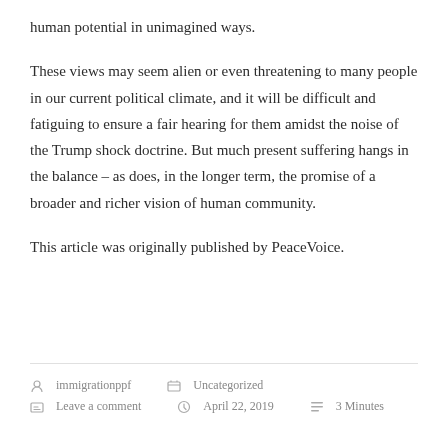human potential in unimagined ways.
These views may seem alien or even threatening to many people in our current political climate, and it will be difficult and fatiguing to ensure a fair hearing for them amidst the noise of the Trump shock doctrine. But much present suffering hangs in the balance – as does, in the longer term, the promise of a broader and richer vision of human community.
This article was originally published by PeaceVoice.
immigrationppf  Uncategorized  Leave a comment  April 22, 2019  3 Minutes